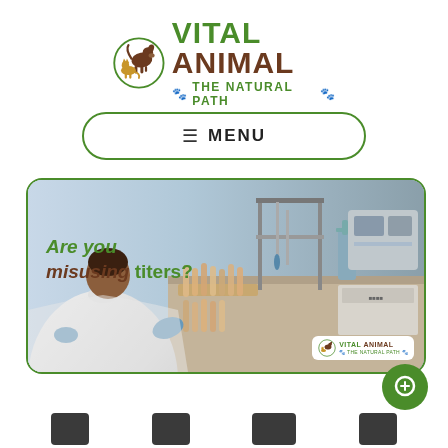[Figure (logo): Vital Animal The Natural Path logo with dog and cat in circle, green and brown text]
≡ MENU
[Figure (photo): Lab technician in white coat working with test tube rack and equipment, with text overlay 'Are you misusing titers?' and Vital Animal logo watermark in bottom right]
[Figure (other): Green circular chat/search button]